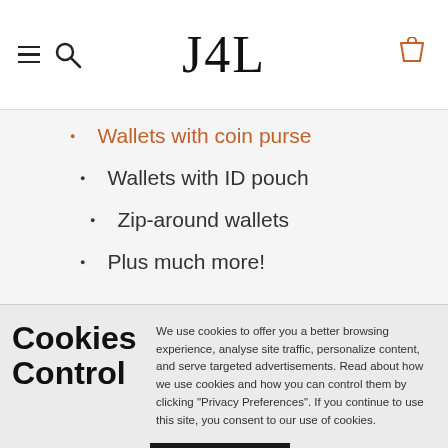J4L
Wallets with coin purse
Wallets with ID pouch
Zip-around wallets
Plus much more!
Cookies Control
We use cookies to offer you a better browsing experience, analyse site traffic, personalize content, and serve targeted advertisements. Read about how we use cookies and how you can control them by clicking "Privacy Preferences". If you continue to use this site, you consent to our use of cookies.